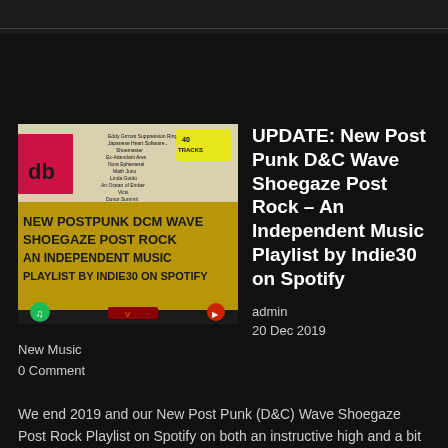[Figure (photo): Spotify playlist cover image showing a music marquee sign reading 'NEW POSTPUNK DCM WAVE SHOEGAZE POST ROCK AN INDEPENDENT MUSIC PLAYLIST BY INDIE30 ON SPOTIFY' with a Spotify logo and track listing at top.]
UPDATE: New Post Punk D&C Wave Shoegaze Post Rock – An Independent Music Playlist by Indie30 on Spotify
admin
20 Dec 2019
New Music
0 Comment
We end 2019 and our New Post Punk (D&C) Wave Shoegaze Post Rock Playlist on Spotify on both an instructive high and a bit of a bonus in the form of 10 extra tracks to add to the usual...